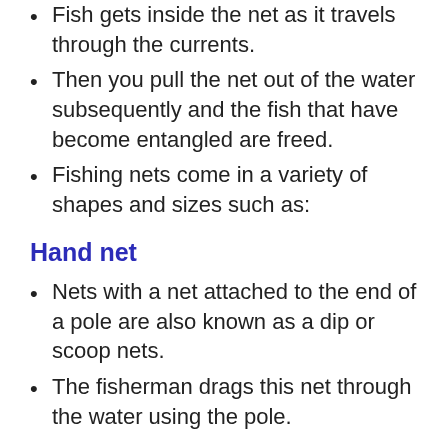Fish gets inside the net as it travels through the currents.
Then you pull the net out of the water subsequently and the fish that have become entangled are freed.
Fishing nets come in a variety of shapes and sizes such as:
Hand net
Nets with a net attached to the end of a pole are also known as a dip or scoop nets.
The fisherman drags this net through the water using the pole.
Fixed gillnet